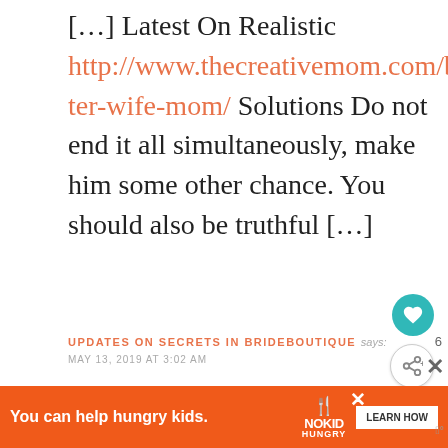[…] Latest On Realistic http://www.thecreativemom.com/better-wife-mom/ Solutions Do not end it all simultaneously, make him some other chance. You should also be truthful […]
UPDATES ON SECRETS IN BRIDEBOUTIQUE says:
MAY 13, 2019 AT 3:02 AM
[…] Clear-Cut Methods In http://www.thecreativemom.com/bet
[Figure (screenshot): What's Next panel showing thumbnail and text 'Am I doing this MOM...']
[Figure (infographic): Orange advertisement banner: 'You can help hungry kids.' with No Kid Hungry logo and LEARN HOW button]